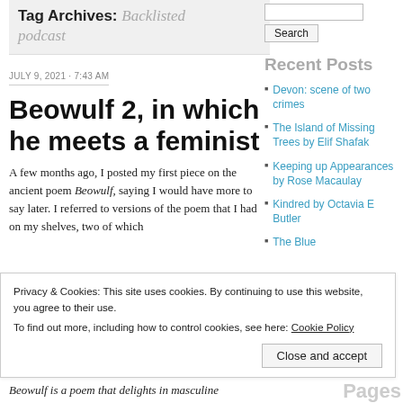Tag Archives: Backlisted podcast
JULY 9, 2021 · 7:43 AM
Beowulf 2, in which he meets a feminist
A few months ago, I posted my first piece on the ancient poem Beowulf, saying I would have more to say later. I referred to versions of the poem that I had on my shelves, two of which
Recent Posts
Devon: scene of two crimes
The Island of Missing Trees by Elif Shafak
Keeping up Appearances by Rose Macaulay
Kindred by Octavia E Butler
The Blue
Privacy & Cookies: This site uses cookies. By continuing to use this website, you agree to their use.
To find out more, including how to control cookies, see here: Cookie Policy
Close and accept
Beowulf is a poem that delights in masculine
Pages